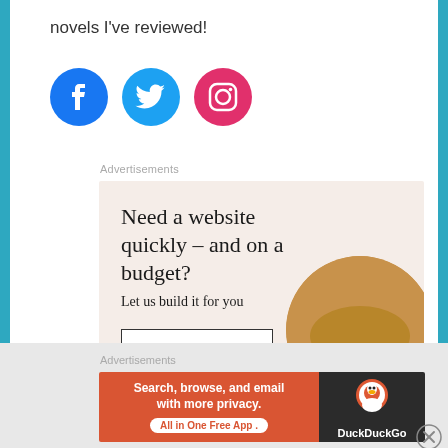novels I've reviewed!
[Figure (illustration): Social media icons: Facebook (blue circle), Twitter (blue circle), Instagram (pink circle)]
Advertisements
[Figure (illustration): WordPress advertisement: 'Need a website quickly – and on a budget? Let us build it for you' with 'Let's get started' button, person typing on laptop, WordPress logo]
Advertisements
[Figure (illustration): DuckDuckGo advertisement: 'Search, browse, and email with more privacy. All in One Free App' with DuckDuckGo logo]